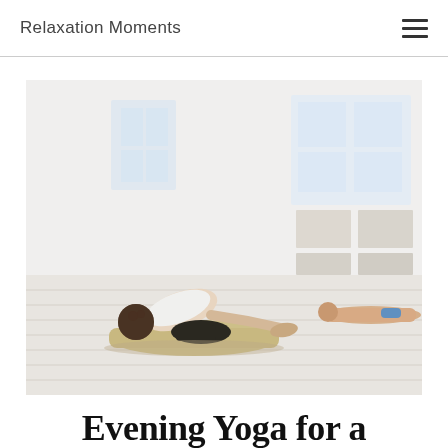Relaxation Moments
[Figure (photo): A person in child's pose on a yoga mat in a bright studio with white wooden floors. A second person lies in the background. The studio has large windows letting in natural light.]
Evening Yoga for a